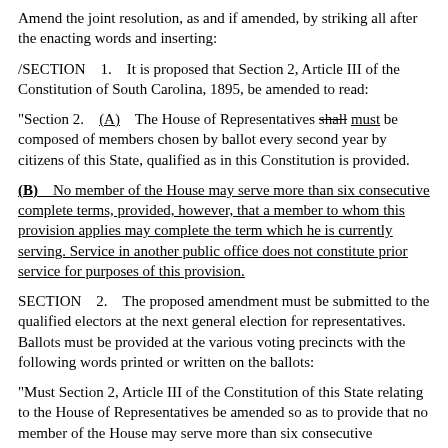Amend the joint resolution, as and if amended, by striking all after the enacting words and inserting:
/SECTION 1. It is proposed that Section 2, Article III of the Constitution of South Carolina, 1895, be amended to read:
"Section 2. (A) The House of Representatives shall must be composed of members chosen by ballot every second year by citizens of this State, qualified as in this Constitution is provided.
(B) No member of the House may serve more than six consecutive complete terms, provided, however, that a member to whom this provision applies may complete the term which he is currently serving. Service in another public office does not constitute prior service for purposes of this provision.
SECTION 2. The proposed amendment must be submitted to the qualified electors at the next general election for representatives. Ballots must be provided at the various voting precincts with the following words printed or written on the ballots:
"Must Section 2, Article III of the Constitution of this State relating to the House of Representatives be amended so as to provide that no member of the House may serve more than six consecutive complete terms?